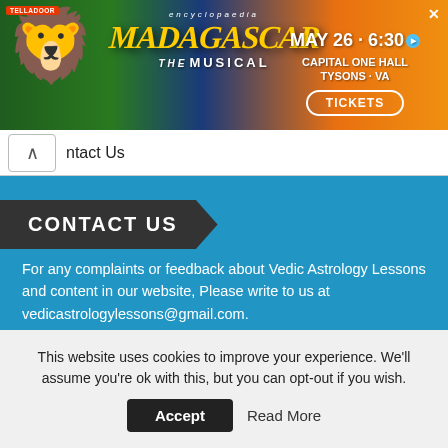[Figure (screenshot): Advertisement banner for Madagascar the Musical. Shows event details: MAY 26 · 6:30, CAPITAL ONE HALL, TYSONS - VA, with a TICKETS button. Left side shows a cartoon lion character. Encoded by Encyclopaedia.]
Contact Us
CONTACT US
For any complaints or feedback about Vedic Astrology Lessons and content in our website, Please write to us at vedicastrologylessons@gmail.com.
Home
This website uses cookies to improve your experience. We'll assume you're ok with this, but you can opt-out if you wish.
Accept   Read More